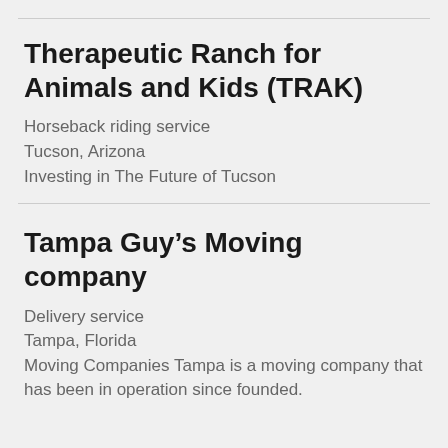Therapeutic Ranch for Animals and Kids (TRAK)
Horseback riding service
Tucson, Arizona
Investing in The Future of Tucson
Tampa Guy’s Moving company
Delivery service
Tampa, Florida
Moving Companies Tampa is a moving company that has been in operation since founded.